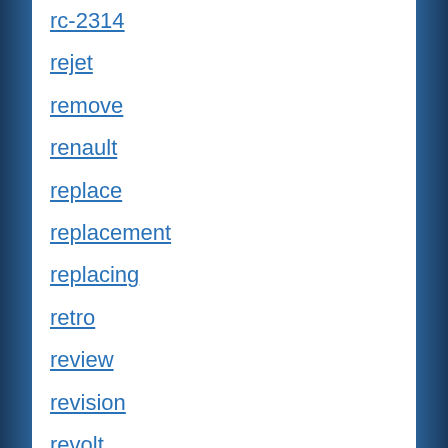rc-2314
rejet
remove
renault
replace
replacement
replacing
retro
review
revision
revolt
ricks
rider
riders